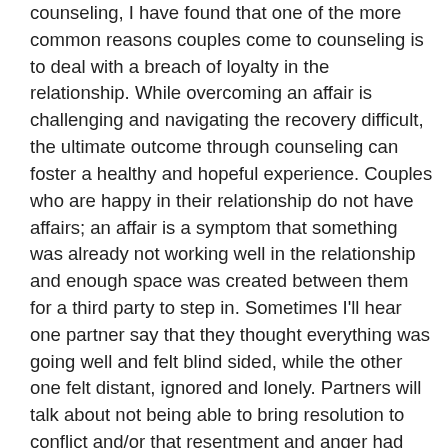counseling, I have found that one of the more common reasons couples come to counseling is to deal with a breach of loyalty in the relationship. While overcoming an affair is challenging and navigating the recovery difficult, the ultimate outcome through counseling can foster a healthy and hopeful experience. Couples who are happy in their relationship do not have affairs; an affair is a symptom that something was already not working well in the relationship and enough space was created between them for a third party to step in. Sometimes I'll hear one partner say that they thought everything was going well and felt blind sided, while the other one felt distant, ignored and lonely. Partners will talk about not being able to bring resolution to conflict and/or that resentment and anger had become the primary way of communicating. The withdrawal of one partner is another example where the pattern includes increased physical absence or emotional disengagement. The stories vary, however the common theme is that either one or both felt unfulfilled in some way in the relationship. The initial phase of navigating the therapy process after an affair focuses on helping couples work with the feelings of betrayal and devastation. This